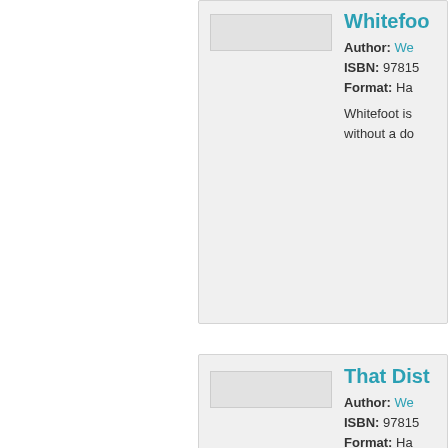[Figure (other): Book thumbnail placeholder – white/grey rectangle]
Whitefoo...
Author: We... ISBN: 97815... Format: Ha... Whitefoot is ... without a do...
[Figure (other): Book thumbnail placeholder – white/grey rectangle]
That Dist...
Author: We... ISBN: 97815... Format: Ha... Drawn from ... DistantLand...
[Figure (other): Book thumbnail placeholder – white/grey rectangle]
Hannah C...
Author: We... ISBN: 97815... Format: Ha... In the latest ... William, Ken...